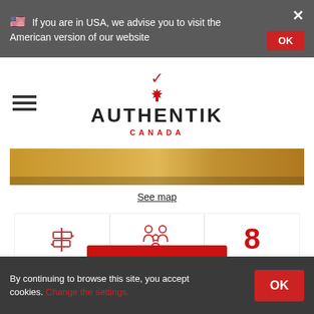🇺🇸 If you are in USA, we advise you to visit the American version of our website
[Figure (logo): Authentik Canada logo with red maple leaf, bold text AUTHENTIK and subtitle CANADA in red]
[Figure (photo): Partial photo strip showing sandy/earthy landscape]
See map
[Figure (infographic): Three icons: signpost (EAST), family group (FAMILY), and number 8 (8 DAYS)]
from
$1,073 / adult
+ vehicle
By continuing to browse this site, you accept cookies. Change the settings.